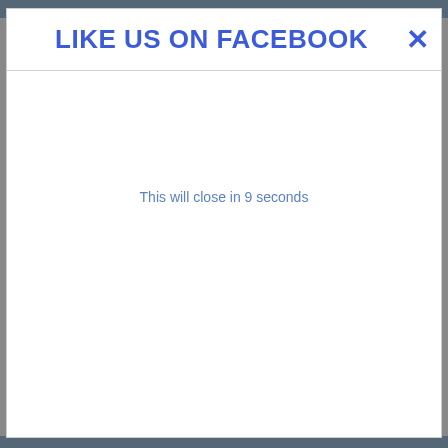LIKE US ON FACEBOOK ✕
This will close in 9 seconds